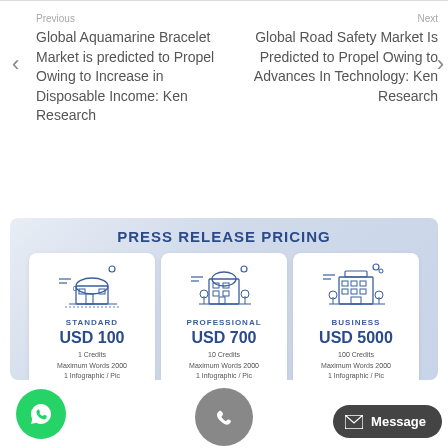Previous
Global Aquamarine Bracelet Market is predicted to Propel Owing to Increase in Disposable Income: Ken Research
Next
Global Road Safety Market Is Predicted to Propel Owing to Advances In Technology: Ken Research
PRESS RELEASE PRICING
| STANDARD | PROFESSIONAL | BUSINESS |
| --- | --- | --- |
| USD 100 | USD 700 | USD 5000 |
| 1 Credits | 10 Credits | 100 Credits |
| Maximum Words 2000 | Maximum Words 2000 | Maximum Words 2000 |
| 1 Infographic / Pic | 1 Infographic / Pic | 1 Infographic / Pic |
| Hyperlinks 2 | Hyperlinks 2 | Hyperlinks 2 |